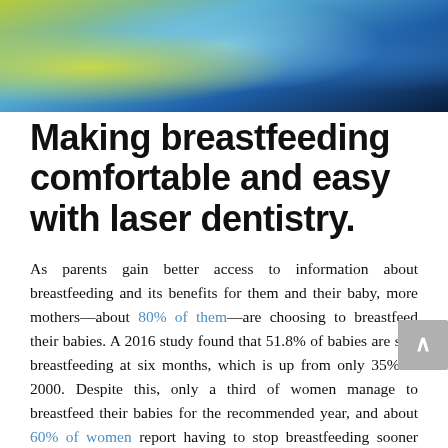[Figure (photo): Close-up photo of colorful fabric or clothing with yellow, green, and blue hues, abstract blur]
Making breastfeeding comfortable and easy with laser dentistry.
As parents gain better access to information about breastfeeding and its benefits for them and their baby, more mothers—about 80% of them—are choosing to breastfeed their babies. A 2016 study found that 51.8% of babies are still breastfeeding at six months, which is up from only 35% in 2000. Despite this, only a third of women manage to breastfeed their babies for the recommended year, and about 60% of women report having to stop breastfeeding sooner than they would like. Lip and tongue ties are major causes of women struggling to breastfeed, but they're incredibly simple issues to solve. This guide provides signs of